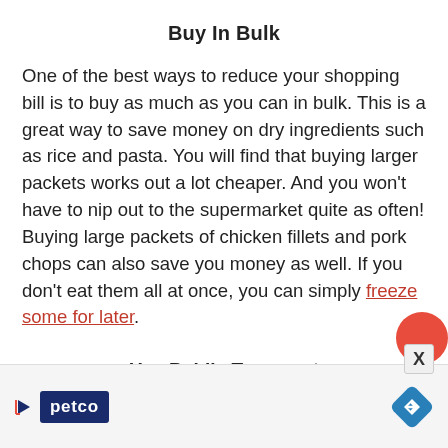Buy In Bulk
One of the best ways to reduce your shopping bill is to buy as much as you can in bulk. This is a great way to save money on dry ingredients such as rice and pasta. You will find that buying larger packets works out a lot cheaper. And you won't have to nip out to the supermarket quite as often! Buying large packets of chicken fillets and pork chops can also save you money as well. If you don't eat them all at once, you can simply freeze some for later.
Use Public Transport
[Figure (other): Advertisement bar at bottom featuring Petco logo and navigation arrow icon]